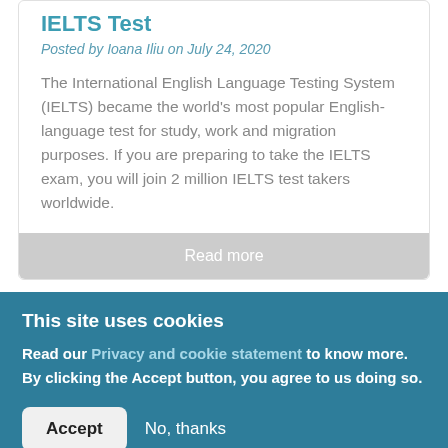IELTS Test
Posted by Ioana Iliu on July 24, 2020
The International English Language Testing System (IELTS) became the world's most popular English-language test for study, work and migration purposes. If you are preparing to take the IELTS exam, you will join 2 million IELTS test takers worldwide.
Read more
This site uses cookies
Read our Privacy and cookie statement to know more. By clicking the Accept button, you agree to us doing so.
Accept
No, thanks